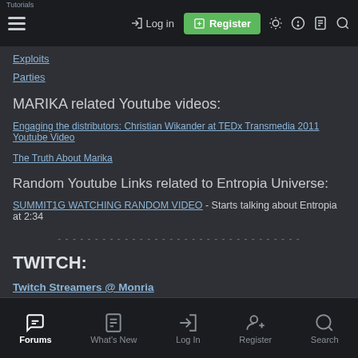Log in | Register
Exploits
Parties
MARIKA related Youtube videos:
Engaging the distributors: Christian Wikander at TEDx Transmedia 2011 Youtube Video
The Truth About Marika
Random Youtube Links related to Entropia Universe:
SUMMIT1G WATCHING RANDOM VIDEO - Starts talking about Entropia at 2:34
--------------------------------
TWITCH:
Twitch Streamers @ Monria
Forums | What's New | Log In | Register | Search